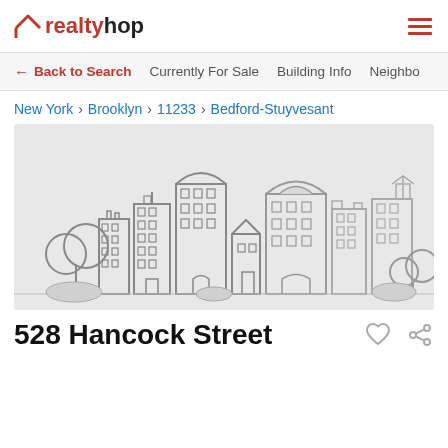realtyhop
← Back to Search   Currently For Sale   Building Info   Neighbo
New York > Brooklyn > 11233 > Bedford-Stuyvesant
[Figure (illustration): Placeholder city skyline illustration with grey buildings and trees on a light grey background]
528 Hancock Street